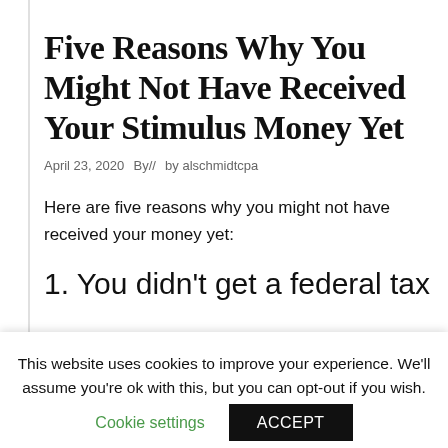Five Reasons Why You Might Not Have Received Your Stimulus Money Yet
April 23, 2020  By//  by alschmidtcpa
Here are five reasons why you might not have received your money yet:
1. You didn't get a federal tax
This website uses cookies to improve your experience. We'll assume you're ok with this, but you can opt-out if you wish.
Cookie settings   ACCEPT